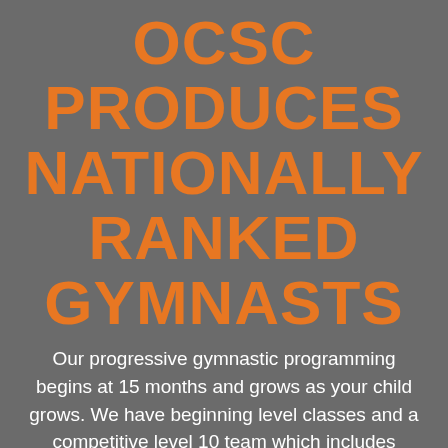OCSC PRODUCES NATIONALLY RANKED GYMNASTS
Our progressive gymnastic programming begins at 15 months and grows as your child grows. We have beginning level classes and a competitive level 10 team which includes nationally ranked gymnasts as well as everything in between!